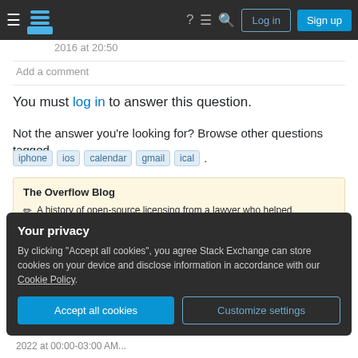Stack Exchange navigation bar with Log in and Sign up buttons
2016 at 20:50
Add a comment
You must log in to answer this question.
Not the answer you're looking for? Browse other questions tagged iphone ios calendar gmail ical .
The Overflow Blog
A history of open-source licensing from a lawyer who helped
Your privacy
By clicking "Accept all cookies", you agree Stack Exchange can store cookies on your device and disclose information in accordance with our Cookie Policy.
Accept all cookies
Customize settings
2022 at 00:00-03:00 AM...